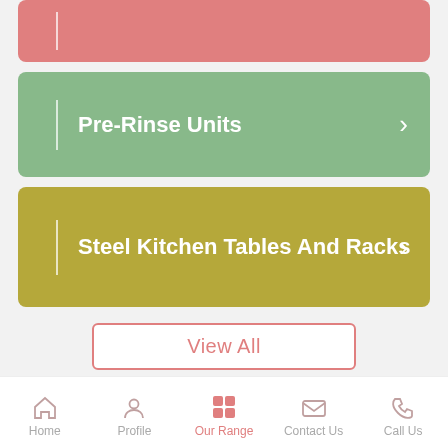[Figure (screenshot): Pink/salmon colored navigation card (partially visible at top)]
Pre-Rinse Units
Steel Kitchen Tables And Racks
View All
Get Best Deals for Kitchen Consultant
Tell us Your Requirement
Home | Profile | Our Range | Contact Us | Call Us